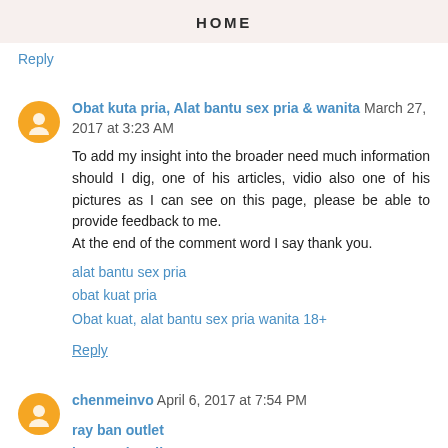HOME
Reply
Obat kuta pria, Alat bantu sex pria & wanita March 27, 2017 at 3:23 AM
To add my insight into the broader need much information should I dig, one of his articles, vidio also one of his pictures as I can see on this page, please be able to provide feedback to me.
At the end of the comment word I say thank you.
alat bantu sex pria
obat kuat pria
Obat kuat, alat bantu sex pria wanita 18+
Reply
chenmeinvo April 6, 2017 at 7:54 PM
ray ban outlet
hermes handbags